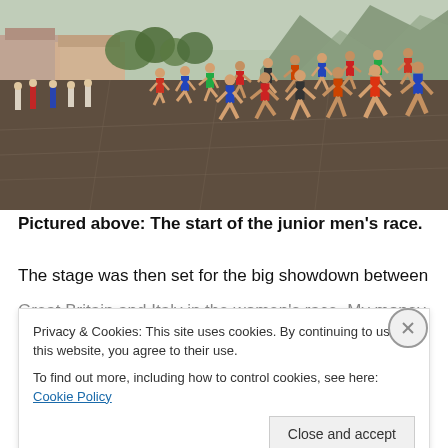[Figure (photo): Photograph of the start of a junior men's cross country running race. A large group of young male runners burst from the starting line on a wet cobblestone/brick surface. Officials and spectators stand to the left. Buildings, trees, and mountains visible in the background under an overcast sky.]
Pictured above: The start of the junior men's race.
The stage was then set for the big showdown between Great Britain and Italy in the women's race. My money
Privacy & Cookies: This site uses cookies. By continuing to use this website, you agree to their use.
To find out more, including how to control cookies, see here: Cookie Policy
Close and accept